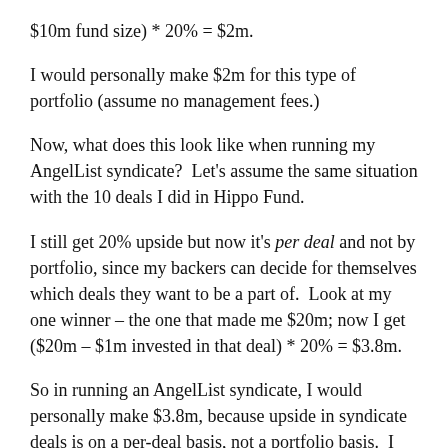$10m fund size) * 20% = $2m.
I would personally make $2m for this type of portfolio (assume no management fees.)
Now, what does this look like when running my AngelList syndicate?  Let's assume the same situation with the 10 deals I did in Hippo Fund.
I still get 20% upside but now it's per deal and not by portfolio, since my backers can decide for themselves which deals they want to be a part of.  Look at my one winner – the one that made me $20m; now I get ($20m – $1m invested in that deal) * 20% = $3.8m.
So in running an AngelList syndicate, I would personally make $3.8m, because upside in syndicate deals is on a per-deal basis, not a portfolio basis.  I